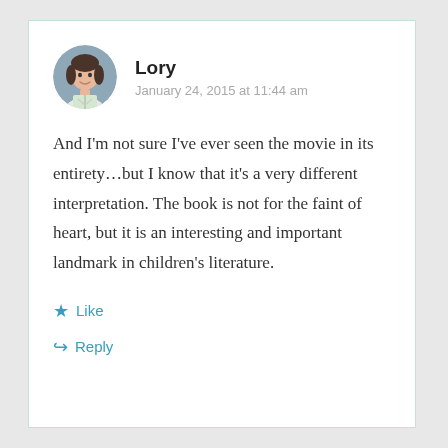[Figure (illustration): Circular avatar of a cartoon woman with dark hair, reading a book, styled in soft colors on a grey-blue background]
Lory
January 24, 2015 at 11:44 am
And I'm not sure I've ever seen the movie in its entirety…but I know that it's a very different interpretation. The book is not for the faint of heart, but it is an interesting and important landmark in children's literature.
Like
Reply